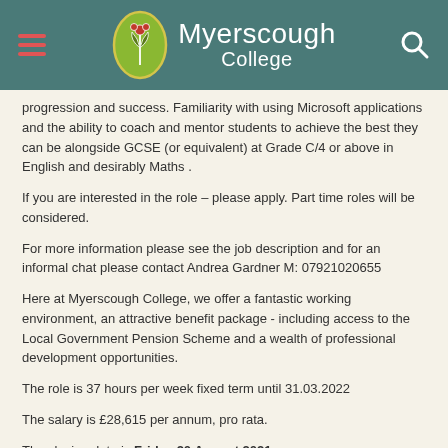Myerscough College
progression and success. Familiarity with using Microsoft applications and the ability to coach and mentor students to achieve the best they can be alongside GCSE (or equivalent) at Grade C/4 or above in English and desirably Maths .
If you are interested in the role – please apply. Part time roles will be considered.
For more information please see the job description and for an informal chat please contact Andrea Gardner M: 07921020655
Here at Myerscough College, we offer a fantastic working environment, an attractive benefit package - including access to the Local Government Pension Scheme and a wealth of professional development opportunities.
The role is 37 hours per week fixed term until 31.03.2022
The salary is £28,615 per annum, pro rata.
The closing date is Friday 20 August 2021.